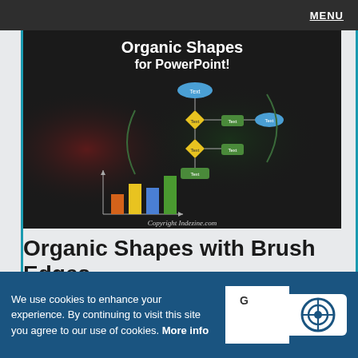MENU
[Figure (screenshot): Screenshot of a PowerPoint template showing 'Organic Shapes for PowerPoint!' with a dark background, a flowchart with colored diamond and oval shapes, a bar chart with orange, yellow, blue and green bars, and Copyright Indezine.com text at the bottom.]
Organic Shapes with Brush Edges
We use cookies to enhance your experience. By continuing to visit this site you agree to our use of cookies. More info